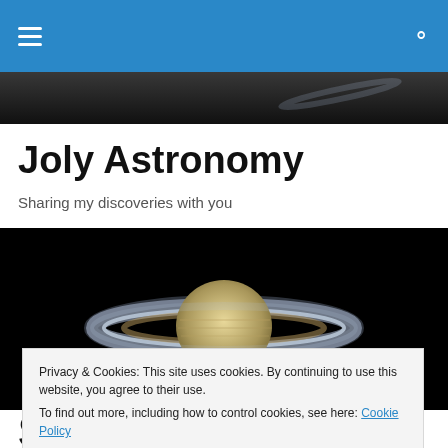Navigation bar with hamburger menu and search icon
[Figure (photo): Dark hero image strip showing a faint arc or ring shape against a dark background]
Joly Astronomy
Sharing my discoveries with you
[Figure (photo): Photograph of Saturn with its rings visible against a black background, centered in the frame]
Privacy & Cookies: This site uses cookies. By continuing to use this website, you agree to their use.
To find out more, including how to control cookies, see here: Cookie Policy
Sauit